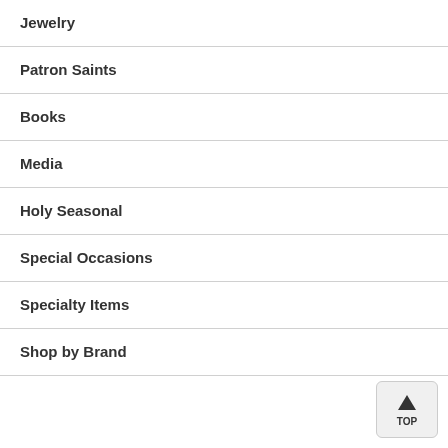Jewelry
Patron Saints
Books
Media
Holy Seasonal
Special Occasions
Specialty Items
Shop by Brand